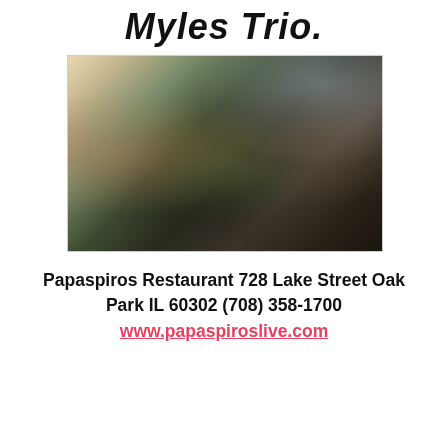Myles Trio.
[Figure (photo): Blurry indoor photo of people gathered at what appears to be a restaurant or event venue, with a lit screen or window visible in the background.]
Papaspiros Restaurant 728 Lake Street Oak Park IL 60302 (708) 358-1700 www.papaspiroslive.com